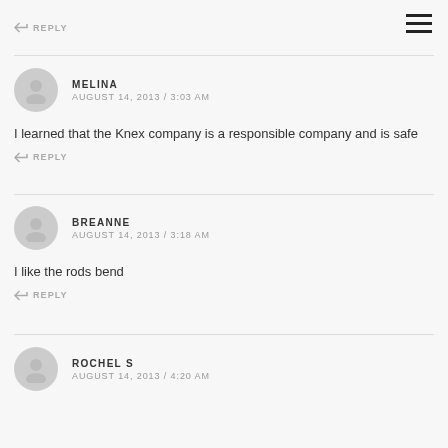↩ REPLY
MELINA
AUGUST 14, 2013 / 3:03 AM
I learned that the Knex company is a responsible company and is safe
↩ REPLY
BREANNE
AUGUST 14, 2013 / 3:18 AM
I like the rods bend
↩ REPLY
ROCHEL S
AUGUST 14, 2013 / 4:20 AM